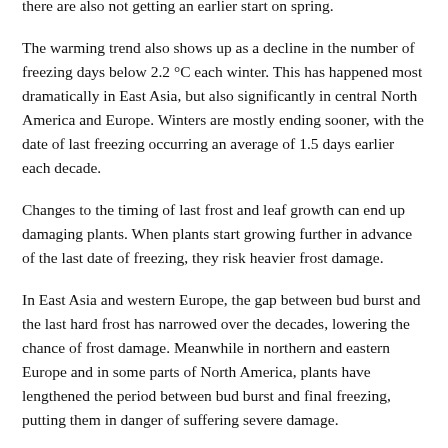there are also not getting an earlier start on spring.
The warming trend also shows up as a decline in the number of freezing days below 2.2 °C each winter. This has happened most dramatically in East Asia, but also significantly in central North America and Europe. Winters are mostly ending sooner, with the date of last freezing occurring an average of 1.5 days earlier each decade.
Changes to the timing of last frost and leaf growth can end up damaging plants. When plants start growing further in advance of the last date of freezing, they risk heavier frost damage.
In East Asia and western Europe, the gap between bud burst and the last hard frost has narrowed over the decades, lowering the chance of frost damage. Meanwhile in northern and eastern Europe and in some parts of North America, plants have lengthened the period between bud burst and final freezing, putting them in danger of suffering severe damage.